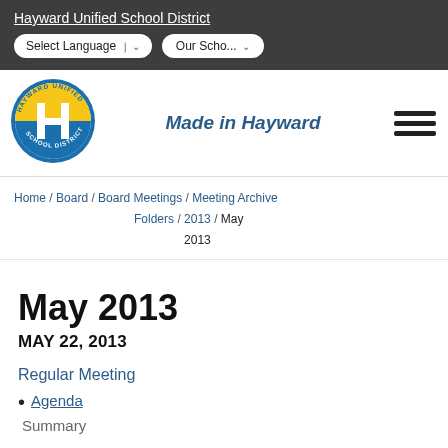Hayward Unified School District
[Figure (logo): Hayward Unified School District circular logo with H in center, yellow and blue colors]
Made in Hayward
Home / Board / Board Meetings / Meeting Archive Folders / 2013 / May 2013
May 2013
MAY 22, 2013
Regular Meeting
Agenda
Summary